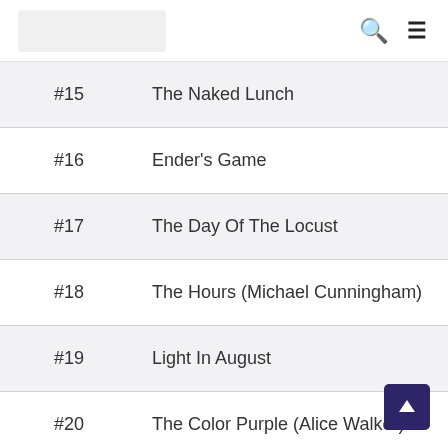[logo] [search icon] [menu icon]
| Rank | Title |
| --- | --- |
| #15 | The Naked Lunch |
| #16 | Ender's Game |
| #17 | The Day Of The Locust |
| #18 | The Hours (Michael Cunningham) |
| #19 | Light In August |
| #20 | The Color Purple (Alice Walker) |
| #21 | The House Of Mirth |
| #22 | Gravity's Rainbow |